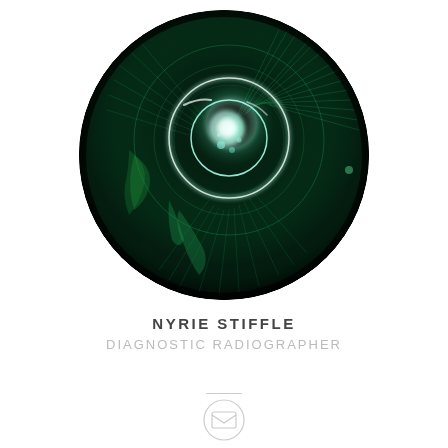[Figure (photo): Circular profile image showing a glowing green and teal bioluminescent cell or organism with radiating filaments on a dark background]
NYRIE STIFFLE
DIAGNOSTIC RADIOGRAPHER
[Figure (illustration): Thin horizontal divider line]